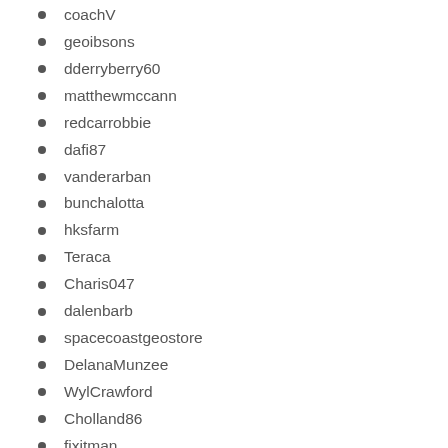coachV
geoibsons
dderryberry60
matthewmccann
redcarrobbie
dafi87
vanderarban
bunchalotta
hksfarm
Teraca
Charis047
dalenbarb
spacecoastgeostore
DelanaMunzee
WylCrawford
Cholland86
fixitman
Raan
gmigueis